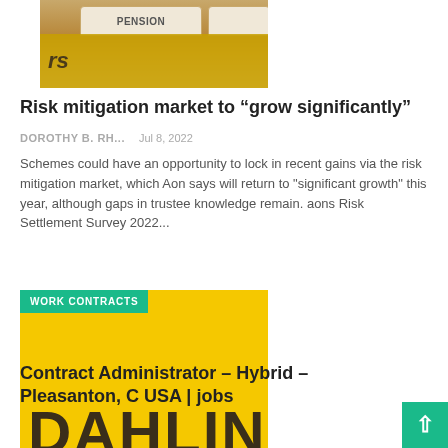[Figure (photo): Partial photo of filing folders/tabs in brown/tan tones with text partially visible]
Risk mitigation market to “grow significantly”
DOROTHY B. RH...    Jul 8, 2022
Schemes could have an opportunity to lock in recent gains via the risk mitigation market, which Aon says will return to "significant growth" this year, although gaps in trustee knowledge remain. aons Risk Settlement Survey 2022...
[Figure (photo): Yellow background image with WORK CONTRACTS badge in teal and large dark text DAHLIN partially visible at bottom]
Contract Administrator – Hybrid – Pleasanton, C USA | jobs